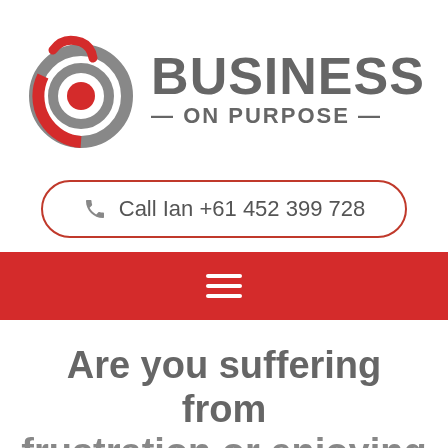[Figure (logo): Business On Purpose logo with target/bullseye icon in red and grey, followed by bold grey text 'BUSINESS' and '— ON PURPOSE —']
Call Ian +61 452 399 728
[Figure (other): Red navigation bar with white hamburger menu icon (three horizontal lines)]
Are you suffering from frustration or enjoying